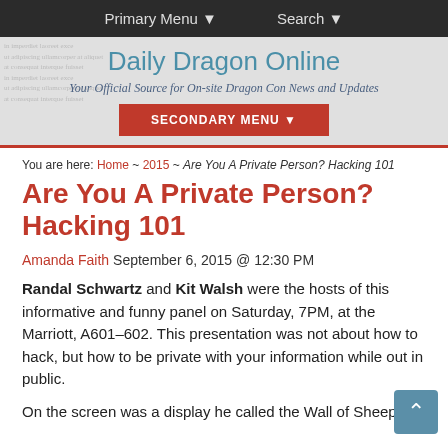Primary Menu ▼   Search ▼
Daily Dragon Online
Your Official Source for On-site Dragon Con News and Updates
SECONDARY MENU ▼
You are here: Home ~ 2015 ~ Are You A Private Person? Hacking 101
Are You A Private Person? Hacking 101
Amanda Faith September 6, 2015 @ 12:30 PM
Randal Schwartz and Kit Walsh were the hosts of this informative and funny panel on Saturday, 7PM, at the Marriott, A601–602. This presentation was not about how to hack, but how to be private with your information while out in public.
On the screen was a display he called the Wall of Sheep,